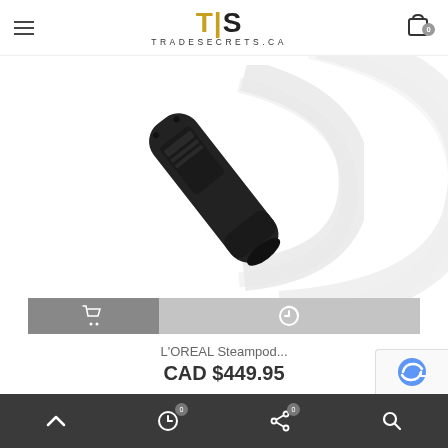TIS TRADESECRETS.CA
[Figure (photo): Product photo of a black L'OREAL Steampod hair straightener tool on a white background with decorative grey arc swoosh]
[Figure (infographic): Two-button action bar: a darker grey shopping cart button on the left and a lighter grey wishlist/compare button on the right]
L'OREAL Steampod...
CAD $449.95
Navigation bar with up arrow, recent/clock icon (0), share icon (0), and search icon